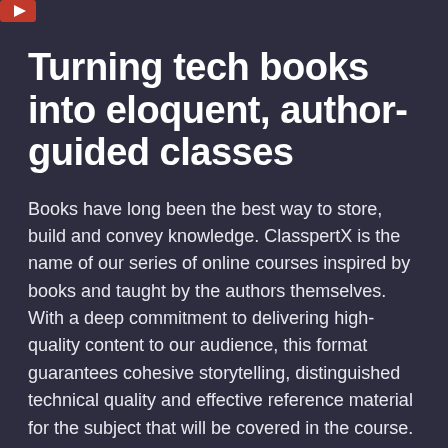[Figure (logo): Red logo icon in top-left corner]
Turning tech books into eloquent, author-guided classes
Books have long been the best way to store, build and convey knowledge. ClasspertX is the name of our series of online courses inspired by books and taught by the authors themselves. With a deep commitment to delivering high-quality content to our audience, this format guarantees cohesive storytelling, distinguished technical quality and effective reference material for the subject that will be covered in the course.